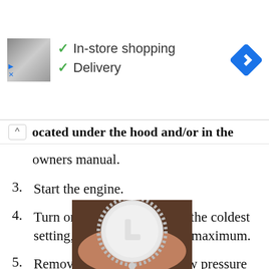[Figure (other): Ad banner with store photo, checkmarks for In-store shopping and Delivery, and a blue navigation diamond icon]
ocated under the hood and/or in the owners manual.
3.  Start the engine.
4.  Turn on the AC and set it to the coldest setting, and the fan speed to maximum.
5.  Remove the cap from the low pressure service port labelled L, and connect the AC recharge kit.
[Figure (photo): A white circular cap with the letter L on it, labelled as the low pressure service port cap]